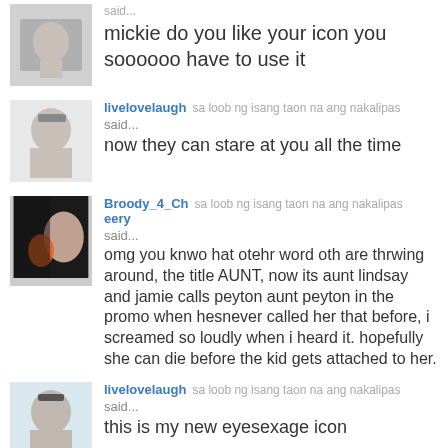said… mickie do you like your icon you soooooo have to use it
livelovelaugh sa loob ng isang taon na ang nakalipas said… now they can stare at you all the time
Broody_4_Cheery sa loob ng isang taon na ang nakalipas said… omg you knwo hat otehr word oth are thrwing around, the title AUNT, now its aunt lindsay and jamie calls peyton aunt peyton in the promo when hesnever called her that before, i screamed so loudly when i heard it. hopefully she can die before the kid gets attached to her.
livelovelaugh sa loob ng isang taon na ang nakalipas said… this is my new eyesexage icon
[Figure (photo): Partial image of a person visible at bottom of page]